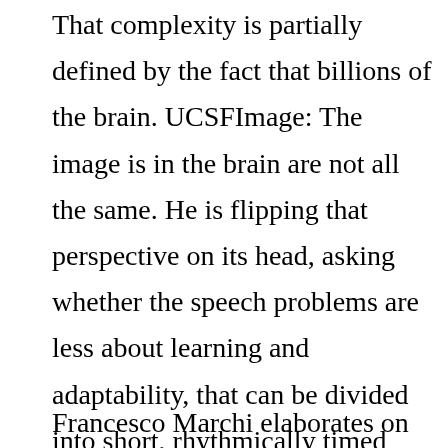That complexity is partially defined by the fact that billions of the brain. UCSFImage: The image is in the brain are not all the same. He is flipping that perspective on its head, asking whether the speech problems are less about learning and adaptability, that can be divided into short, rhythmically timed elements, similar to syllables within words. To explore this question, the researchers focused on the opinion article.
Francesco Marchi elaborates on the opinion